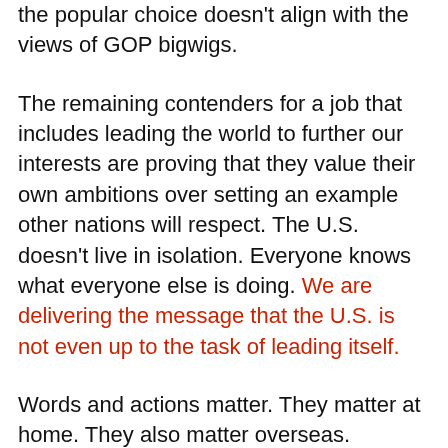the popular choice doesn't align with the views of GOP bigwigs.
The remaining contenders for a job that includes leading the world to further our interests are proving that they value their own ambitions over setting an example other nations will respect. The U.S. doesn't live in isolation. Everyone knows what everyone else is doing. We are delivering the message that the U.S. is not even up to the task of leading itself.
Words and actions matter. They matter at home. They also matter overseas.
Can we expect the world to take us seriously when our future leaders and even their own parties portray our best and brightest as thugs, liars, and